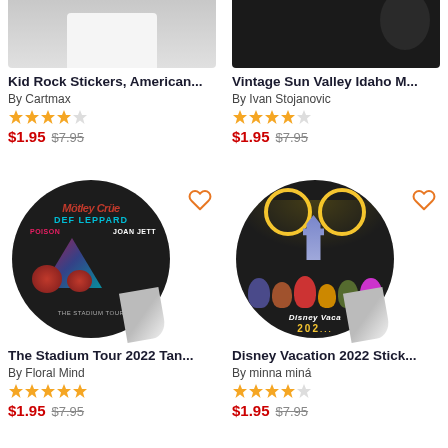[Figure (photo): Kid Rock sticker product image (partial, top only shown)]
Kid Rock Stickers, American...
By Cartmax
★★★★☆ (4 stars)
$1.95  $7.95
[Figure (photo): Vintage Sun Valley Idaho Mountain sticker product image (partial)]
Vintage Sun Valley Idaho M...
By Ivan Stojanovic
★★★★☆ (4 stars)
$1.95  $7.95
[Figure (photo): The Stadium Tour 2022 Motley Crue / Def Leppard / Poison / Joan Jett round sticker with peeling corner]
The Stadium Tour 2022 Tan...
By Floral Mind
★★★★★ (5 stars)
$1.95  $7.95
[Figure (photo): Disney Vacation 2022 round sticker with Mickey characters and fireworks, peeling corner]
Disney Vacation 2022 Stick...
By minna miná
★★★★☆ (4 stars)
$1.95  $7.95